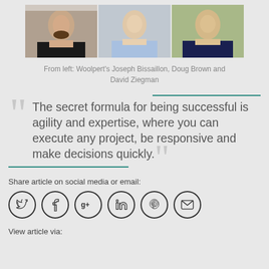[Figure (photo): Three professional headshots side by side: Woolpert's Joseph Bissaillon, Doug Brown and David Ziegman]
From left: Woolpert's Joseph Bissaillon, Doug Brown and David Ziegman
The secret formula for being successful is agility and expertise, where you can execute any project, be responsive and make decisions quickly.
Share article on social media or email:
[Figure (infographic): Row of six social media / share icons in circles: Twitter, Facebook, Google+, LinkedIn, Pinterest, Email]
View article via: